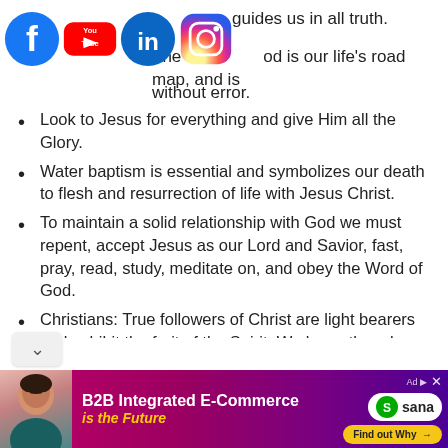[Figure (logo): Social media icons: Facebook, YouTube, LinkedIn, Instagram]
guides us in all truth. The Word of God is our life's road map, and is without error.
Look to Jesus for everything and give Him all the Glory.
Water baptism is essential and symbolizes our death to flesh and resurrection of life with Jesus Christ.
To maintain a solid relationship with God we must repent, accept Jesus as our Lord and Savior, fast, pray, read, study, meditate on, and obey the Word of God.
Christians: True followers of Christ are light bearers and exhibit the fruit of the Spirit. We know them by their fruit.
[Figure (photo): Advertisement banner: B2B Integrated E-Commerce is the Future - Sana Commerce ad with woman photo]